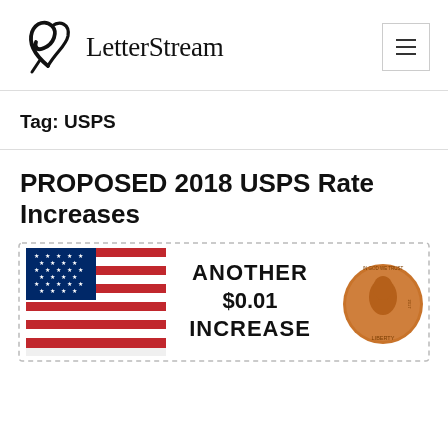[Figure (logo): LetterStream logo with stylized pen/leaf icon and serif text 'LetterStream']
Tag: USPS
PROPOSED 2018 USPS Rate Increases
[Figure (illustration): Stamp-style image with US flag on left, text 'ANOTHER $0.01 INCREASE' in center, and a Lincoln penny coin on right]